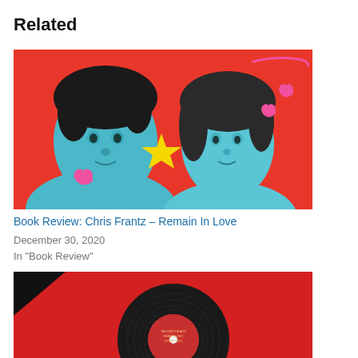Related
[Figure (photo): Pop-art style photo of two young people (Chris Frantz and Tina Weymouth) on a red background with blue tint, with drawn-on pink hearts and a yellow star]
Book Review: Chris Frantz – Remain In Love
December 30, 2020
In "Book Review"
[Figure (photo): Red album cover with a vinyl record showing a red label with gold text, and a black triangle in the upper left corner]